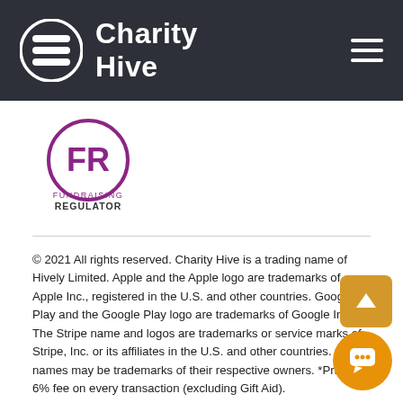[Figure (logo): Charity Hive logo with icon and text on dark background header, with hamburger menu icon on the right]
[Figure (logo): Fundraising Regulator logo: circle with FR initials in purple, text FUNDRAISING REGULATOR below]
© 2021 All rights reserved. Charity Hive is a trading name of Hively Limited. Apple and the Apple logo are trademarks of Apple Inc., registered in the U.S. and other countries. Google Play and the Google Play logo are trademarks of Google Inc. The Stripe name and logos are trademarks or service marks of Stripe, Inc. or its affiliates in the U.S. and other countries. Other names may be trademarks of their respective owners. *Pricing: 6% fee on every transaction (excluding Gift Aid).
Privacy Policy | Cookie Policy | Fees and Charges